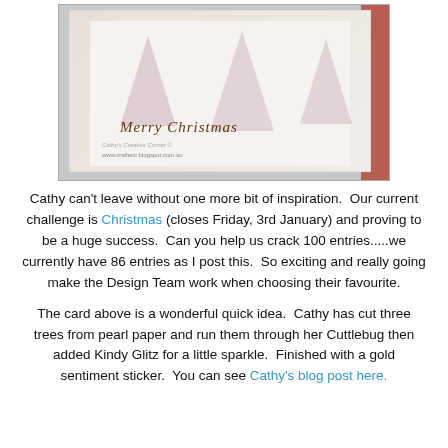[Figure (photo): A handmade Christmas card featuring three pink/glittery tree shapes cut from pearl paper on a white card background, decorated with rhinestones and Kindy Glitz sparkle, with a gold cursive 'Merry Christmas' sentiment sticker. Watermark reads 'Cathy's Creative Corner' and URL www.crafiecc.blogspot.com.au. A red background is visible at the right edge.]
Cathy can't leave without one more bit of inspiration.  Our current challenge is Christmas (closes Friday, 3rd January) and proving to be a huge success.  Can you help us crack 100 entries.....we currently have 86 entries as I post this.  So exciting and really going make the Design Team work when choosing their favourite.
The card above is a wonderful quick idea.  Cathy has cut three trees from pearl paper and run them through her Cuttlebug then added Kindy Glitz for a little sparkle.  Finished with a gold sentiment sticker.  You can see Cathy's blog post here.